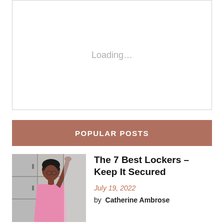[Figure (screenshot): Loading placeholder box with 'Loading…' text centered in a white bordered rectangle]
POPULAR POSTS
[Figure (photo): Photo of a young Black woman reaching up to open a locker in a row of metal lockers]
The 7 Best Lockers – Keep It Secured
July 19, 2022
by Catherine Ambrose